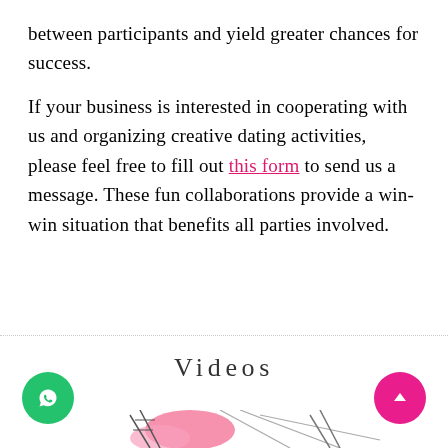between participants and yield greater chances for success.
If your business is interested in cooperating with us and organizing creative dating activities, please feel free to fill out this form to send us a message. These fun collaborations provide a win-win situation that benefits all parties involved.
Videos